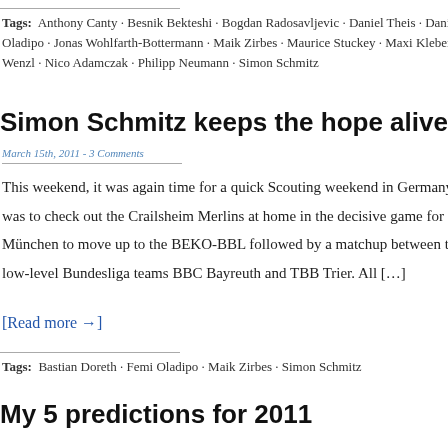Tags: Anthony Canty · Besnik Bekteshi · Bogdan Radosavljevic · Daniel Theis · Danilo Bart... Oladipo · Jonas Wohlfarth-Bottermann · Maik Zirbes · Maurice Stuckey · Maxi Kleber · Mich... Wenzl · Nico Adamczak · Philipp Neumann · Simon Schmitz
Simon Schmitz keeps the hope alive for Bayreu...
March 15th, 2011 - 3 Comments
This weekend, it was again time for a quick Scouting weekend in Germany. The... was to check out the Crailsheim Merlins at home in the decisive game for FC Ba... München to move up to the BEKO-BBL followed by a matchup between two m... low-level Bundesliga teams BBC Bayreuth and TBB Trier. All […]
[Read more →]
Tags: Bastian Doreth · Femi Oladipo · Maik Zirbes · Simon Schmitz
My 5 predictions for 2011